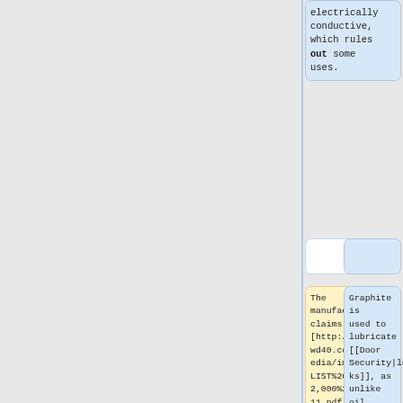electrically conductive, which rules out some uses.
The manufacturer claims [http://www.wd40.co.uk/media/images/LIST%20OF%202,000%20USES11.pdf 2000 uses for WD40]. While many of these are not uses we
Graphite is used to lubricate [[Door Security|locks]], as unlike oil it doesn't attract muck.